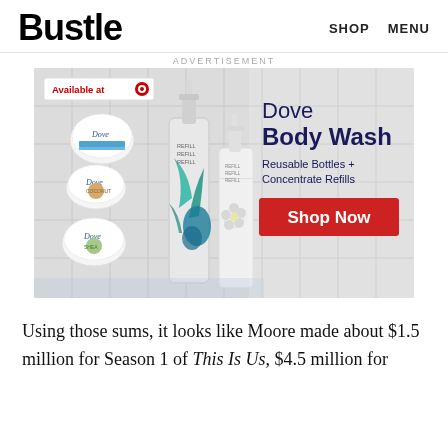Bustle   SHOP   MENU
ADVERTISEMENT
[Figure (illustration): Dove Body Wash advertisement showing reusable bottles and concentrate refills, available at Target. Features product bottles with floral/botanical design and a red Shop Now button.]
Using those sums, it looks like Moore made about $1.5 million for Season 1 of This Is Us, $4.5 million for